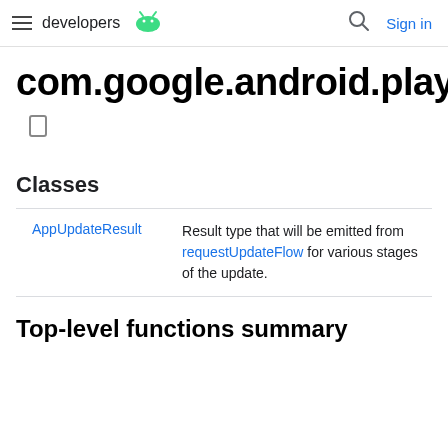developers Sign in
com.google.android.play.core.ktx
Classes
|  |  |
| --- | --- |
| AppUpdateResult | Result type that will be emitted from requestUpdateFlow for various stages of the update. |
Top-level functions summary